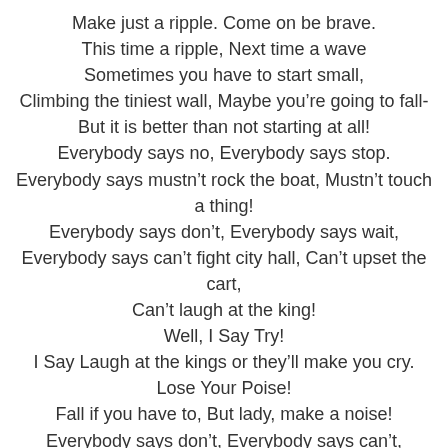Make just a ripple. Come on be brave.
This time a ripple, Next time a wave
Sometimes you have to start small,
Climbing the tiniest wall, Maybe you’re going to fall-
But it is better than not starting at all!
Everybody says no, Everybody says stop.
Everybody says mustn’t rock the boat, Mustn’t touch a thing!
Everybody says don’t, Everybody says wait,
Everybody says can’t fight city hall, Can’t upset the cart,
Can’t laugh at the king!
Well, I Say Try!
I Say Laugh at the kings or they’ll make you cry.
Lose Your Poise!
Fall if you have to, But lady, make a noise!
Everybody says don’t, Everybody says can’t,